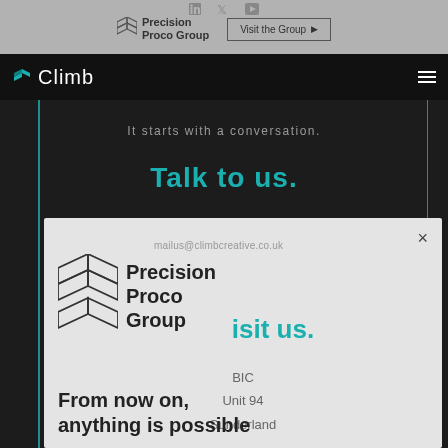[Figure (logo): Precision Proco Group logo with geometric diamond icon and 'Visit the Group' button in gray top bar]
Climb navigation bar with teal C logo and hamburger menu
It starts with a conversation.
Talk to us.
[Figure (screenshot): White popup card showing Precision Proco Group logo, mailus@climbcreative.co.uk email, address: BIC, Unit 94, Sunderland, with close X button]
Visit us.
BIC
Unit 94
Sunderland
From now on,
anything is possible